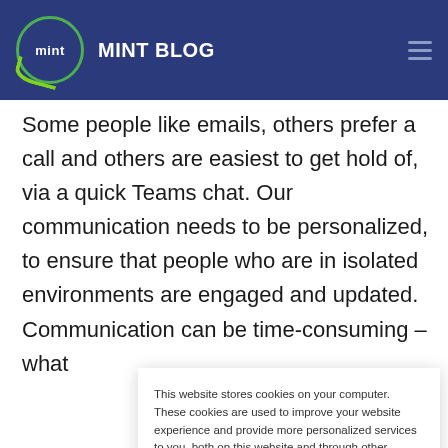MINT BLOG
Some people like emails, others prefer a call and others are easiest to get hold of, via a quick Teams chat. Our communication needs to be personalized, to ensure that people who are in isolated environments are engaged and updated. Communication can be time-consuming –what
This website stores cookies on your computer. These cookies are used to improve your website experience and provide more personalized services to you, both on this website and through other media. To find out more about the cookies we use, see our Privacy Policy.

We won't track your information when you visit our site. But in order to comply with your preferences, we'll have to use just one tiny cookie so that you're not asked to make this choice again.